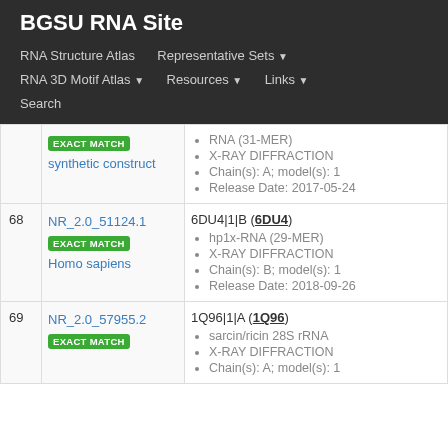BGSU RNA Site
RNA Structure Atlas | Representative Sets ▼ | RNA 3D Motif Atlas ▼ | Resources ▼ | Links ▼ | Search
| # | ID / Match | Entry Details |
| --- | --- | --- |
|  | NR_2.0_... EXACT MATCH synthetic construct | RNA (31-MER) • X-RAY DIFFRACTION • Chain(s): A; model(s): 1 • Release Date: 2017-05-24 |
| 68 | NR_2.0_51124.1 EXACT MATCH Homo sapiens | 6DU4|1|B (6DU4) • hp1x-RNA (29-MER) • X-RAY DIFFRACTION • Chain(s): B; model(s): 1 • Release Date: 2018-09-26 |
| 69 | NR_2.0_57955.2 EXACT MATCH | 1Q96|1|A (1Q96) • sarcin/ricin 28S rRNA • X-RAY DIFFRACTION • Chain(s): A; model(s): 1 |